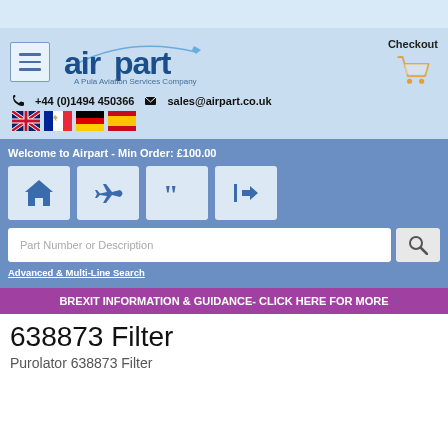[Figure (logo): Airpart - A Pula Aviation Services Company logo with airplane graphic]
Checkout
+44 (0)1494 450366  sales@airpart.co.uk
[Figure (illustration): Four country flag icons: UK, France, Germany, Spain]
Welcome to Airpart - Min Order: £100.00
Advanced & Multi-Line Search
BREXIT INFORMATION & GUIDANCE- CLICK HERE FOR MORE
638873 Filter
Purolator 638873 Filter